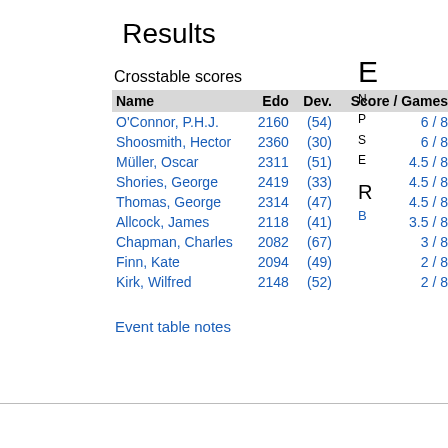Results
Crosstable scores
| Name | Edo | Dev. | Score / Games |
| --- | --- | --- | --- |
| O'Connor, P.H.J. | 2160 | (54) | 6 / 8 |
| Shoosmith, Hector | 2360 | (30) | 6 / 8 |
| Müller, Oscar | 2311 | (51) | 4.5 / 8 |
| Shories, George | 2419 | (33) | 4.5 / 8 |
| Thomas, George | 2314 | (47) | 4.5 / 8 |
| Allcock, James | 2118 | (41) | 3.5 / 8 |
| Chapman, Charles | 2082 | (67) | 3 / 8 |
| Finn, Kate | 2094 | (49) | 2 / 8 |
| Kirk, Wilfred | 2148 | (52) | 2 / 8 |
Event table notes